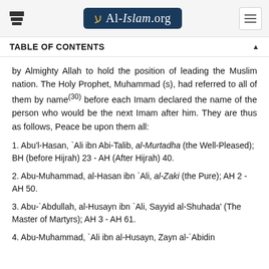Al-Islam.org
TABLE OF CONTENTS
by Almighty Allah to hold the position of leading the Muslim nation. The Holy Prophet, Muhammad (s), had referred to all of them by name(30) before each Imam declared the name of the person who would be the next Imam after him. They are thus as follows, Peace be upon them all:
1. Abu'l-Hasan, `Ali ibn Abi-Talib, al-Murtadha (the Well-Pleased); BH (before Hijrah) 23 - AH (After Hijrah) 40.
2. Abu-Muhammad, al-Hasan ibn `Ali, al-Zaki (the Pure); AH 2 - AH 50.
3. Abu-`Abdullah, al-Husayn ibn `Ali, Sayyid al-Shuhada' (The Master of Martyrs); AH 3 - AH 61.
4. Abu-Muhammad, `Ali ibn al-Husayn, Zayn al-`Abidin (The Adornment of the Worshippers); AH 38 - AH 95.